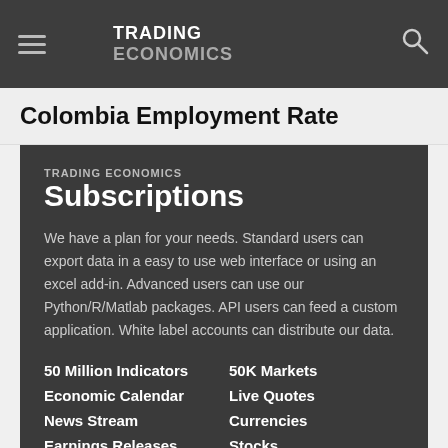TRADING ECONOMICS
Colombia Employment Rate
TRADING ECONOMICS Subscriptions
We have a plan for your needs. Standard users can export data in a easy to use web interface or using an excel add-in. Advanced users can use our Python/R/Matlab packages. API users can feed a custom application. White label accounts can distribute our data.
50 Million Indicators
50K Markets
Economic Calendar
Live Quotes
News Stream
Currencies
Earnings Releases
Stocks
Credit Ratings
Commodities
Forecasts
Bonds